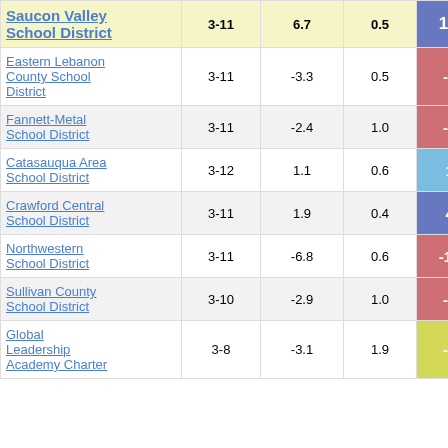| School District | Grades | Avg Change | Weight | Score |
| --- | --- | --- | --- | --- |
| Saucon Valley School District | 3-11 | 6.7 | 0.5 | 12.55 |
| Eastern Lebanon County School District | 3-11 | -3.3 | 0.5 | -6.92 |
| Fannett-Metal School District | 3-11 | -2.4 | 1.0 | -2.30 |
| Catasauqua Area School District | 3-12 | 1.1 | 0.6 | 1.77 |
| Crawford Central School District | 3-11 | 1.9 | 0.4 | 4.77 |
| Northwestern School District | 3-11 | -6.8 | 0.6 | -11.09 |
| Sullivan County School District | 3-10 | -2.9 | 1.0 | -2.91 |
| Global Leadership Academy Charter | 3-8 | -3.1 | 1.9 | -1.63 |